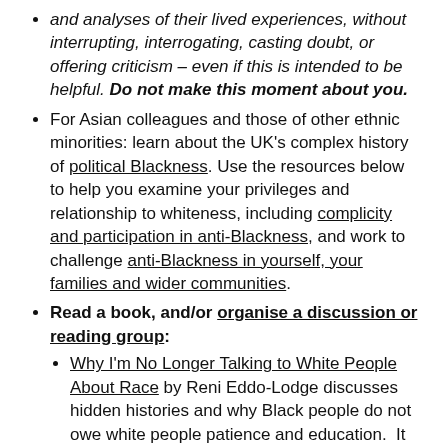and analyses of their lived experiences, without interrupting, interrogating, casting doubt, or offering criticism – even if this is intended to be helpful. Do not make this moment about you.
For Asian colleagues and those of other ethnic minorities: learn about the UK's complex history of political Blackness. Use the resources below to help you examine your privileges and relationship to whiteness, including complicity and participation in anti-Blackness, and work to challenge anti-Blackness in yourself, your families and wider communities.
Read a book, and/or organise a discussion or reading group:
Why I'm No Longer Talking to White People About Race by Reni Eddo-Lodge discusses hidden histories and why Black people do not owe white people patience and education.  It is particularly useful if you want to learn more about